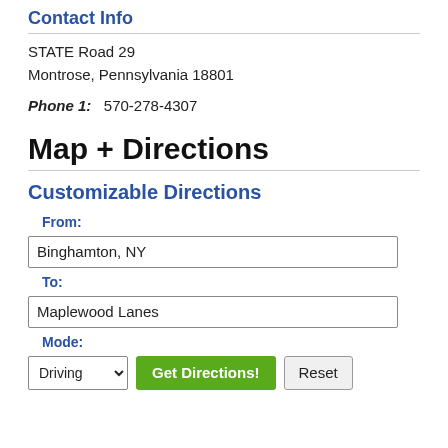Contact Info
STATE Road 29
Montrose, Pennsylvania 18801
Phone 1:  570-278-4307
Map + Directions
Customizable Directions
From:
Binghamton, NY
To:
Maplewood Lanes
Mode: